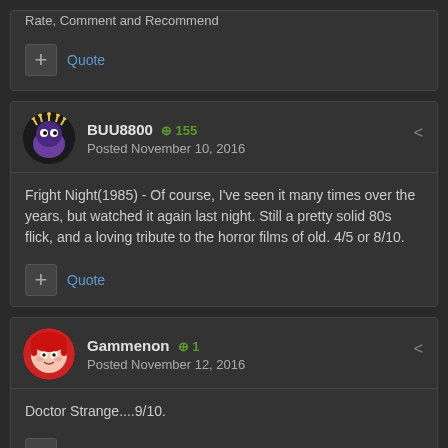Rate, Comment and Recommend
Quote
BUU8800 +155 Posted November 10, 2016
Fright Night(1985) - Of course, I've seen it many times over the years, but watched it again last night. Still a pretty solid 80s flick, and a loving tribute to the horror films of old. 4/5 or 8/10.
Quote
Gammenon +1 Posted November 12, 2016
Doctor Strange....9/10.
Quote